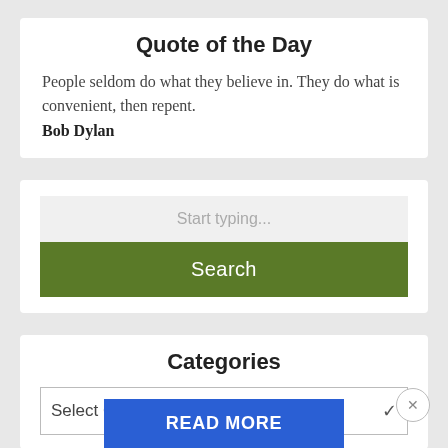Quote of the Day
People seldom do what they believe in. They do what is convenient, then repent. Bob Dylan
[Figure (screenshot): Search widget with text input placeholder 'Start typing...' and a green Search button]
Categories
Select Category
READ MORE